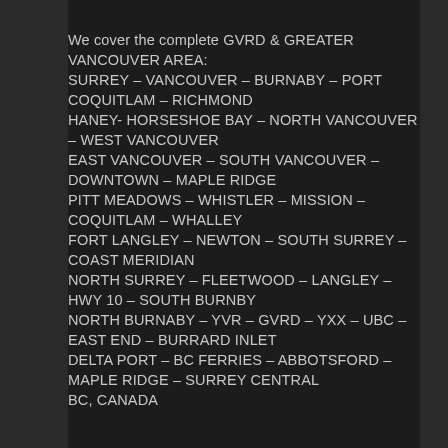We cover the complete GVRD & GREATER VANCOUVER AREA:
SURREY – VANCOUVER – BURNABY – PORT COQUITLAM – RICHMOND
HANEY- HORSESHOE BAY – NORTH VANCOUVER – WEST VANCOUVER
EAST VANCOUVER – SOUTH VANCOUVER – DOWNTOWN – MAPLE RIDGE
PITT MEADOWS – WHISTLER – MISSION – COQUITLAM – WHALLEY
FORT LANGLEY – NEWTON – SOUTH SURREY – COAST MERIDIAN
NORTH SURREY – FLEETWOOD – LANGLEY – HWY 10 – SOUTH BURNBY
NORTH BURNABY – YVR – GVRD – YXX – UBC – EAST END – BURRARD INLET
DELTA PORT – BC FERRIES – ABBOTSFORD – MAPLE RIDGE – SURREY CENTRAL
BC, CANADA